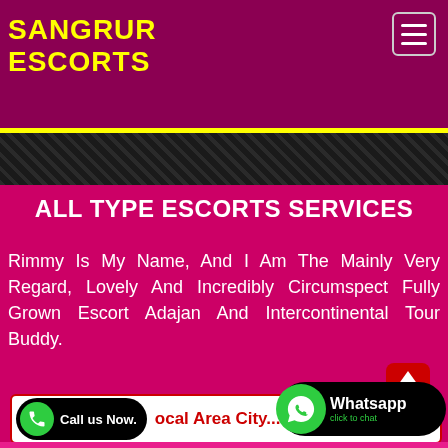SANGRUR ESCORTS
ALL TYPE ESCORTS SERVICES
Rimmy Is My Name, And I Am The Mainly Very Regard, Lovely And Incredibly Circumspect Fully Grown Escort Adajan And Intercontinental Tour Buddy.
Call us Now. Local Area City...
Whatsapp click to chat